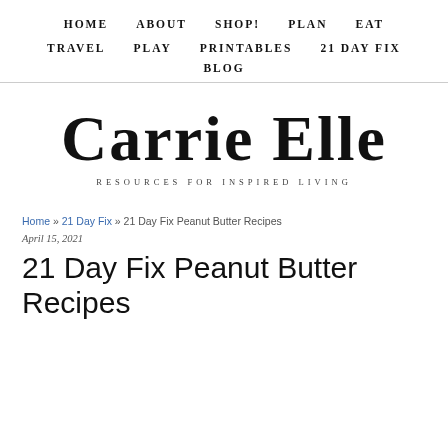HOME   ABOUT   SHOP!   PLAN   EAT   TRAVEL   PLAY   PRINTABLES   21 DAY FIX   BLOG
[Figure (logo): Carrie Elle logo — cursive script text 'Carrie Elle' with tagline 'RESOURCES FOR INSPIRED LIVING']
Home » 21 Day Fix » 21 Day Fix Peanut Butter Recipes
April 15, 2021
21 Day Fix Peanut Butter Recipes